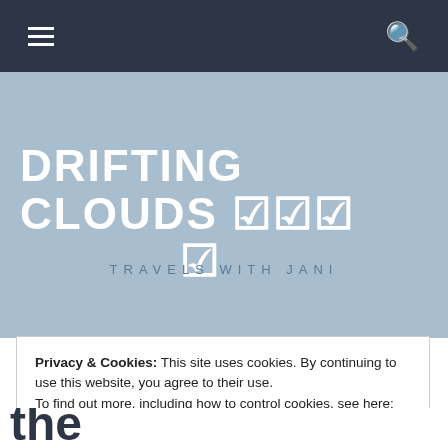☰  🔍
DRIFTING CLOUDS 🌥🌤🌦 🌧
TRAVELS WITH JANI
Privacy & Cookies: This site uses cookies. By continuing to use this website, you agree to their use.
To find out more, including how to control cookies, see here: Cookie Policy
Close and accept
Serpent Across the